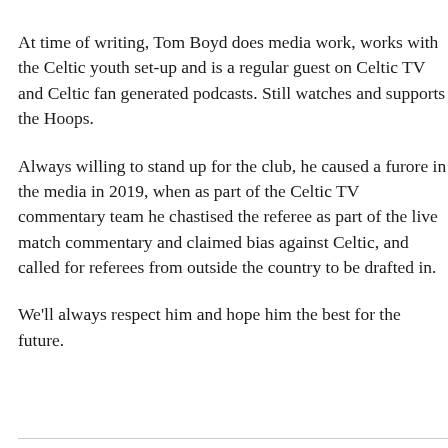At time of writing, Tom Boyd does media work, works with the Celtic youth set-up and is a regular guest on Celtic TV and Celtic fan generated podcasts. Still watches and supports the Hoops.
Always willing to stand up for the club, he caused a furore in the media in 2019, when as part of the Celtic TV commentary team he chastised the referee as part of the live match commentary and claimed bias against Celtic, and called for referees from outside the country to be drafted in.
We'll always respect him and hope him the best for the future.